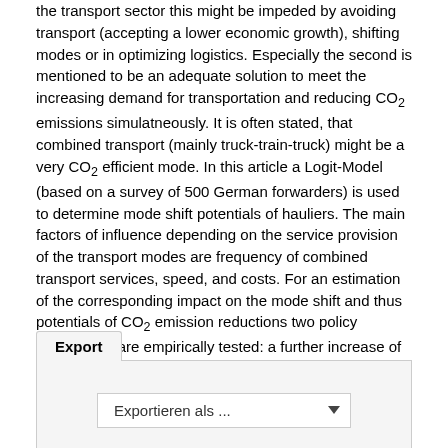the transport sector this might be impeded by avoiding transport (accepting a lower economic growth), shifting modes or in optimizing logistics. Especially the second is mentioned to be an adequate solution to meet the increasing demand for transportation and reducing CO₂ emissions simulatneously. It is often stated, that combined transport (mainly truck-train-truck) might be a very CO₂ efficient mode. In this article a Logit-Model (based on a survey of 500 German forwarders) is used to determine mode shift potentials of hauliers. The main factors of influence depending on the service provision of the transport modes are frequency of combined transport services, speed, and costs. For an estimation of the corresponding impact on the mode shift and thus potentials of CO₂ emission reductions two policy instruments are empirically tested: a further increase of the performance-based heavy vehicle fee (LSVA-Maut) and a hypothetical speeding up of the average speed in freight rail transport to 80 km per hour. ... mehr
Export
Exportieren als ...